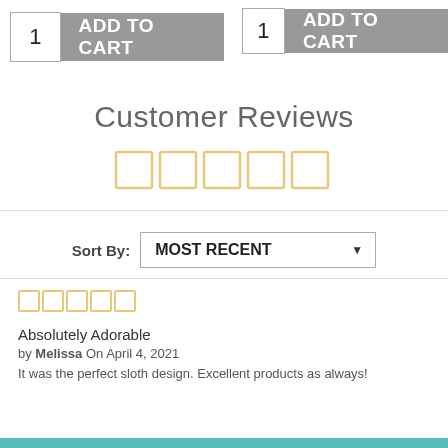[Figure (screenshot): Add to cart buttons with quantity boxes, two side by side at the top of the page]
Customer Reviews
[Figure (other): Five empty star outlines in gold/yellow color for overall rating]
Sort By: MOST RECENT
Absolutely Adorable
by Melissa On April 4, 2021
It was the perfect sloth design. Excellent products as always!